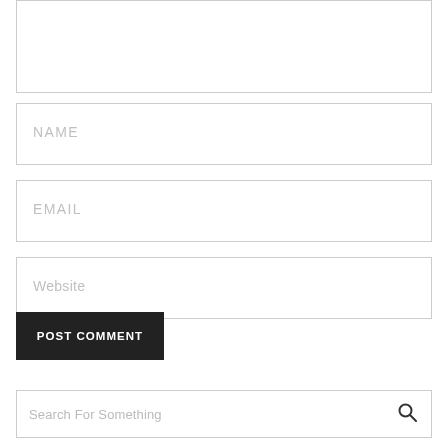[Figure (screenshot): Comment form textarea (empty, top of page)]
[Figure (screenshot): Name input field with placeholder text NAME]
[Figure (screenshot): Email input field with placeholder text EMAIL]
[Figure (screenshot): Website input field with placeholder text Website]
[Figure (screenshot): POST COMMENT button in black]
[Figure (screenshot): Search input with placeholder Search For Something and search icon]